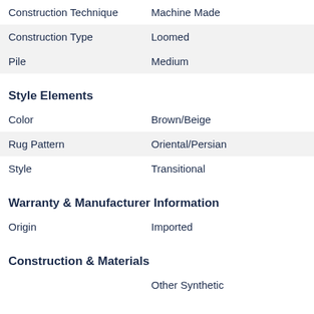| Construction Technique | Machine Made |
| Construction Type | Loomed |
| Pile | Medium |
Style Elements
| Color | Brown/Beige |
| Rug Pattern | Oriental/Persian |
| Style | Transitional |
Warranty & Manufacturer Information
| Origin | Imported |
Construction & Materials
|  | Other Synthetic |
More Items From The Anastasia